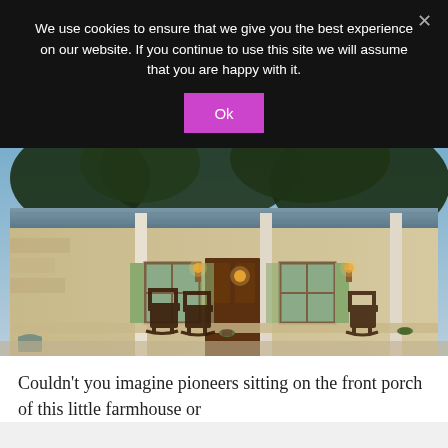We use cookies to ensure that we give you the best experience on our website. If you continue to use this site we will assume that you are happy with it.
[Figure (photo): Photo of a rustic Texas limestone farmhouse cottage with a covered front porch, rocking chairs, warm wall sconces, green shuttered windows, metal roof, and large oak trees overhead at dusk.]
Couldn't you imagine pioneers sitting on the front porch of this little farmhouse or